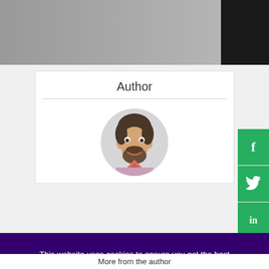[Figure (photo): Top banner image showing a person in dark clothing, gray background]
Author
[Figure (photo): Circular author headshot of a smiling man with beard]
[Figure (screenshot): Social media share buttons sidebar with Facebook (f), Twitter bird, and LinkedIn (in) icons on green background]
This website uses cookies to ensure you get the best experience on our website.
COOKIE SETTINGS
ACCEPT ALL COOKIES
More from the author